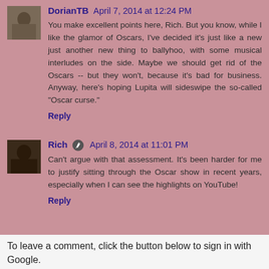DorianTB April 7, 2014 at 12:24 PM
You make excellent points here, Rich. But you know, while I like the glamor of Oscars, I've decided it's just like a new just another new thing to ballyhoo, with some musical interludes on the side. Maybe we should get rid of the Oscars -- but they won't, because it's bad for business. Anyway, here's hoping Lupita will sideswipe the so-called "Oscar curse."
Reply
Rich April 8, 2014 at 11:01 PM
Can't argue with that assessment. It's been harder for me to justify sitting through the Oscar show in recent years, especially when I can see the highlights on YouTube!
Reply
To leave a comment, click the button below to sign in with Google.